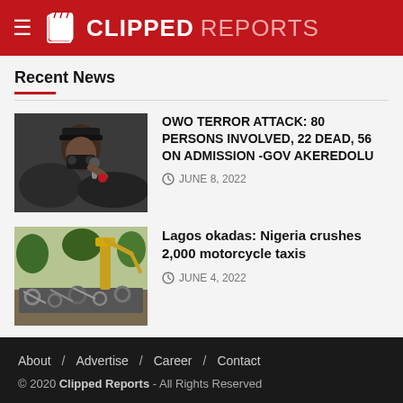CLIPPED REPORTS
Recent News
[Figure (photo): Man in dark hat and face mask holding microphone at a press briefing]
OWO TERROR ATTACK: 80 PERSONS INVOLVED, 22 DEAD, 56 ON ADMISSION -GOV AKEREDOLU
JUNE 8, 2022
[Figure (photo): Crushed motorcycles/okadas piled up, construction machinery visible]
Lagos okadas: Nigeria crushes 2,000 motorcycle taxis
JUNE 4, 2022
About / Advertise / Career / Contact
© 2020 Clipped Reports - All Rights Reserved